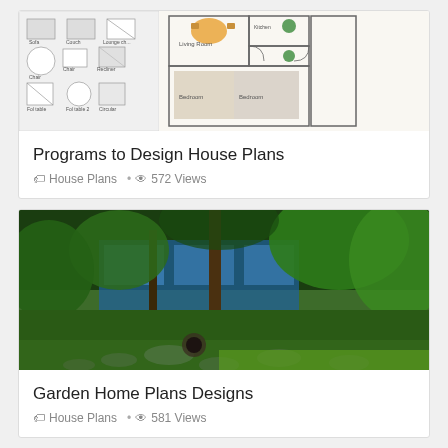[Figure (photo): Floor plan design software screenshot showing room layout symbols and a colored house floor plan]
Programs to Design House Plans
House Plans • 572 Views
[Figure (photo): Photograph of a modern garden home with lush greenery, stone pathway, and glass-walled building]
Garden Home Plans Designs
House Plans • 581 Views